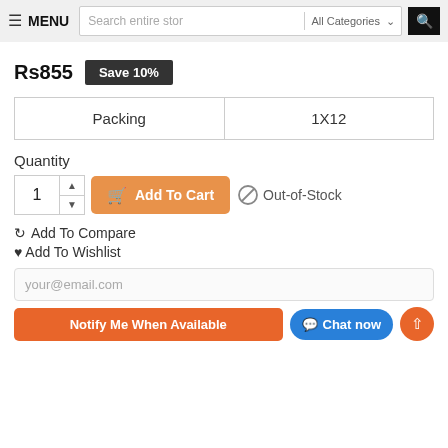≡ MENU  Search entire store  All Categories  🔍
Rs855  Save 10%
| Packing | 1X12 |
| --- | --- |
Quantity
1  Add To Cart  Out-of-Stock
Add To Compare
Add To Wishlist
your@email.com
Notify Me When Available  Chat now